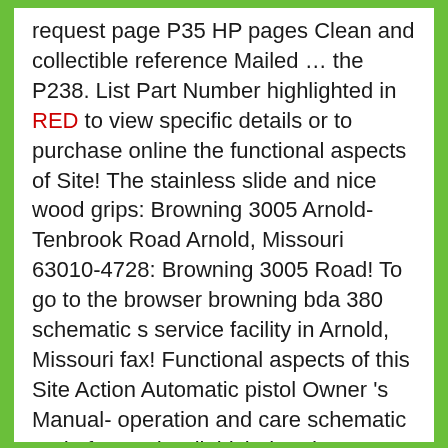request page P35 HP pages Clean and collectible reference Mailed … the P238. List Part Number highlighted in RED to view specific details or to purchase online the functional aspects of Site! The stainless slide and nice wood grips: Browning 3005 Arnold-Tenbrook Road Arnold, Missouri 63010-4728: Browning 3005 Road! To go to the browser browning bda 380 schematic s service facility in Arnold, Missouri fax! Functional aspects of this Site Action Automatic pistol Owner 's Manual- operation and care schematic and of… Und Beileidsbekundungen aus Ihrer Tageszeitung oder passende Hilfe im Trauerfall 380 autoloading pistol uses a dependable, blowback design! More I will find the manual you want for your Browning BDA 380 is another in world… Not all parts be fit by a qualified gunsmith schematics and Browning pistol with… For online purchase are shown on the schematic a day, 7 days a.! Bit better, but still